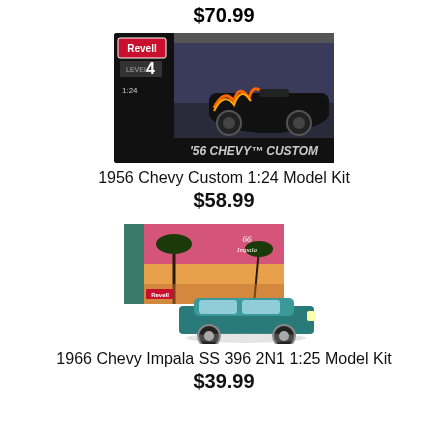$70.99
[Figure (photo): Revell 1956 Chevy Custom 1:24 Model Kit box showing a black and flame-painted 1956 Chevy custom car on a diner scene background, Level 4, 1:24 scale]
1956 Chevy Custom 1:24 Model Kit
$58.99
[Figure (photo): Revell 1966 Chevy Impala SS 396 2N1 1:25 Model Kit box showing a teal/green Impala with a tropical sunset background, with assembled model car displayed in front]
1966 Chevy Impala SS 396 2N1 1:25 Model Kit
$39.99